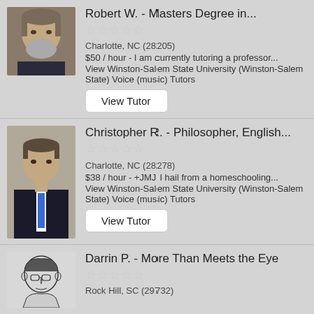[Figure (photo): Photo of Robert W., older man with beard and gray hair]
Robert W. - Masters Degree in...
Charlotte, NC (28205)
$50 / hour - I am currently tutoring a professor...
View Winston-Salem State University (Winston-Salem State) Voice (music) Tutors
View Tutor
[Figure (photo): Photo of Christopher R., young man in suit with blue tie]
Christopher R. - Philosopher, English...
Charlotte, NC (28278)
$38 / hour - +JMJ I hail from a homeschooling...
View Winston-Salem State University (Winston-Salem State) Voice (music) Tutors
View Tutor
[Figure (illustration): Sketch/cartoon illustration of Darrin P., man with glasses]
Darrin P. - More Than Meets the Eye
Rock Hill, SC (29732)